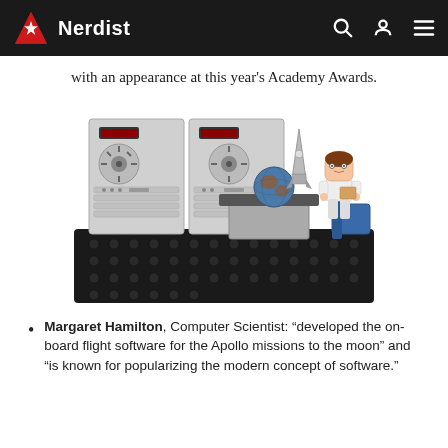Nerdist
with an appearance at this year's Academy Awards.
[Figure (photo): A LEGO set featuring a female minifigure (Margaret Hamilton) sitting at a desk with large computer reel-to-reel machines, a globe, and a rocket, all on a black LEGO baseplate.]
Margaret Hamilton, Computer Scientist: "developed the on-board flight software for the Apollo missions to the moon" and "is known for popularizing the modern concept of software."